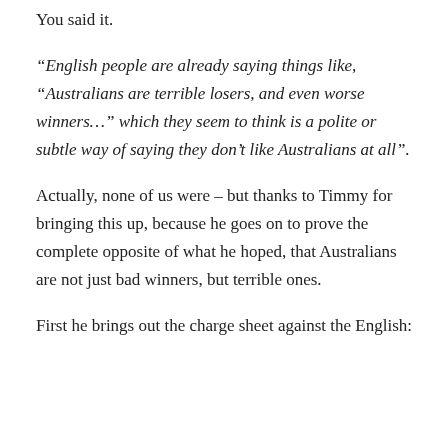You said it.
“English people are already saying things like, “Australians are terrible losers, and even worse winners…” which they seem to think is a polite or subtle way of saying they don’t like Australians at all”.
Actually, none of us were – but thanks to Timmy for bringing this up, because he goes on to prove the complete opposite of what he hoped, that Australians are not just bad winners, but terrible ones.
First he brings out the charge sheet against the English: